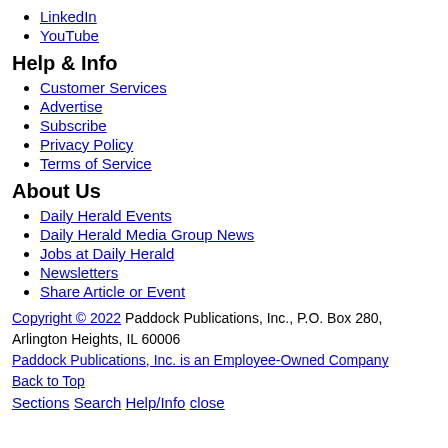LinkedIn
YouTube
Help & Info
Customer Services
Advertise
Subscribe
Privacy Policy
Terms of Service
About Us
Daily Herald Events
Daily Herald Media Group News
Jobs at Daily Herald
Newsletters
Share Article or Event
Copyright © 2022 Paddock Publications, Inc., P.O. Box 280, Arlington Heights, IL 60006
Paddock Publications, Inc. is an Employee-Owned Company
Back to Top
Sections Search Help/Info close